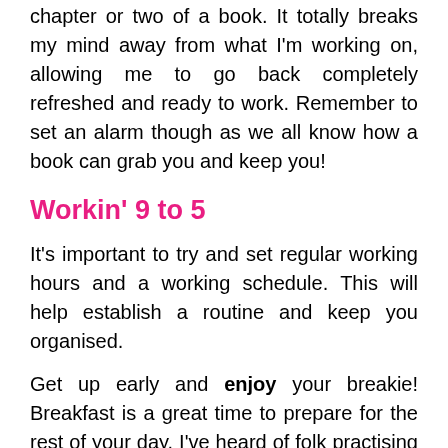chapter or two of a book. It totally breaks my mind away from what I'm working on, allowing me to go back completely refreshed and ready to work. Remember to set an alarm though as we all know how a book can grab you and keep you!
Workin' 9 to 5
It's important to try and set regular working hours and a working schedule. This will help establish a routine and keep you organised.
Get up early and enjoy your breakie! Breakfast is a great time to prepare for the rest of your day. I've heard of folk practising mindful techniques or thinking of things they are grateful for to help them start the day on a positive. I personally like to spend my breakfast time relaxing and focusing on positive things before I start my work. It really helps me to get in the right frame of mind before